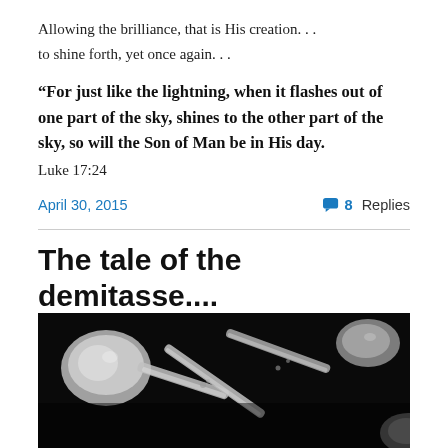Allowing the brilliance, that is His creation. . .
to shine forth, yet once again. . .
“For just like the lightning, when it flashes out of one part of the sky, shines to the other part of the sky, so will the Son of Man be in His day.
Luke 17:24
April 30, 2015
8 Replies
The tale of the demitasse....
[Figure (photo): Black and white close-up photograph of multiple silver demitasse spoons arranged together against a dark background.]